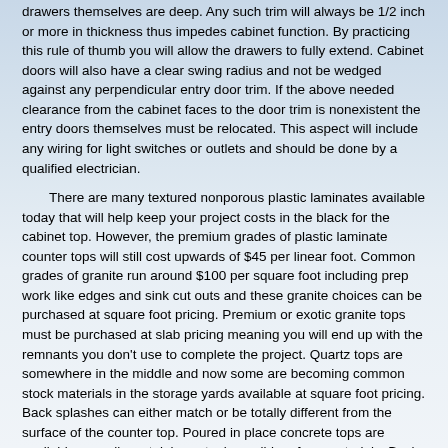drawers themselves are deep.  Any such trim will always be 1/2 inch or more in thickness thus impedes cabinet function.  By practicing this rule of thumb you will allow the drawers to fully extend. Cabinet doors will also have a clear swing radius and not be wedged against any perpendicular entry door trim.  If the above needed clearance from the cabinet faces to the door trim is nonexistent the entry doors themselves must be relocated.  This aspect will include any wiring for light switches or outlets and should be done by a qualified electrician.
There are many textured nonporous plastic laminates available today that will help keep your project costs in the black for the cabinet top.  However, the premium grades of plastic laminate counter tops will still cost upwards of $45 per linear foot. Common grades of granite run around $100 per square foot including prep work like edges and sink cut outs and these granite choices can be purchased at square foot pricing. Premium or exotic granite tops must be purchased at slab pricing meaning you will end up with the remnants you don’t use to complete the project. Quartz tops are somewhere in the middle and now some are becoming common stock materials in the storage yards available at square foot pricing. Back splashes can either match or be totally different from the surface of the counter top.  Poured in place concrete tops are available as well as stainless steel or solid surface materials. Back splashes using tile patterns and designs must blend well with any of the chosen counter top surface choices.
Whatever your situation rely on the experiences of a local building professional.  Check out their credentials and references over merely price